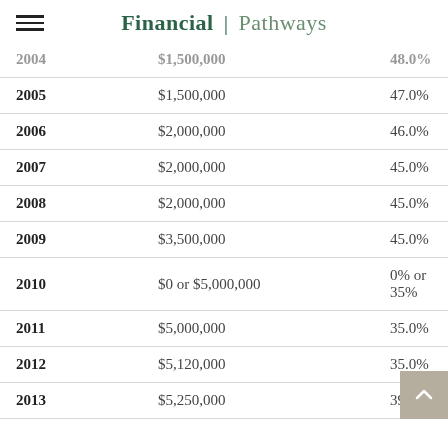Financial | Pathways
| Year | Exemption Amount | Top Rate |
| --- | --- | --- |
| 2004 | $1,500,000 | 48.0% |
| 2005 | $1,500,000 | 47.0% |
| 2006 | $2,000,000 | 46.0% |
| 2007 | $2,000,000 | 45.0% |
| 2008 | $2,000,000 | 45.0% |
| 2009 | $3,500,000 | 45.0% |
| 2010 | $0 or $5,000,000 | 0% or 35% |
| 2011 | $5,000,000 | 35.0% |
| 2012 | $5,120,000 | 35.0% |
| 2013 | $5,250,000 | 39.6% |